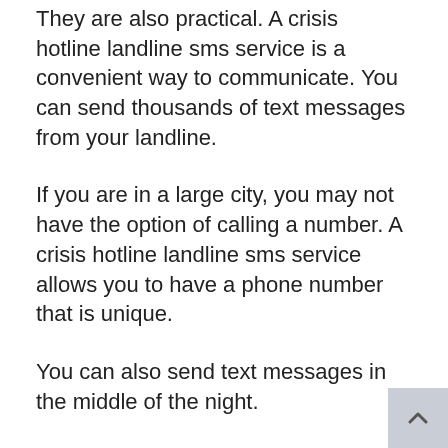They are also practical. A crisis hotline landline sms service is a convenient way to communicate. You can send thousands of text messages from your landline.
If you are in a large city, you may not have the option of calling a number. A crisis hotline landline sms service allows you to have a phone number that is unique.
You can also send text messages in the middle of the night.
Conclusion:
Crisis hotline landline sms service is a great way to communicate with emergency services. It is also a convenient way to communicate. It is